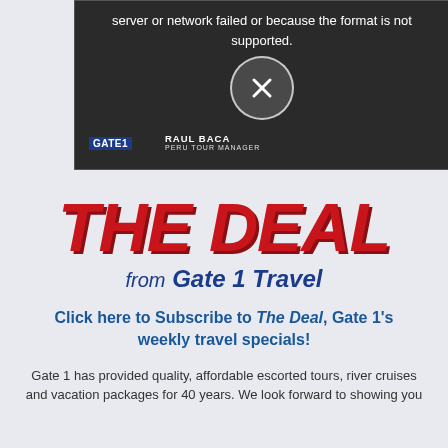[Figure (screenshot): Video player showing error state with circular X icon and text 'server or network failed or because the format is not supported.' Overlay shows dark video thumbnail with two children and a dog outdoors. Bottom left shows GATE1 logo and RAUL BACA, PERU TOUR MANAGER watermark.]
THE DEAL from Gate 1 Travel
Click here to Subscribe to The Deal, Gate 1's weekly travel specials!
Gate 1 has provided quality, affordable escorted tours, river cruises and vacation packages for 40 years. We look forward to showing you